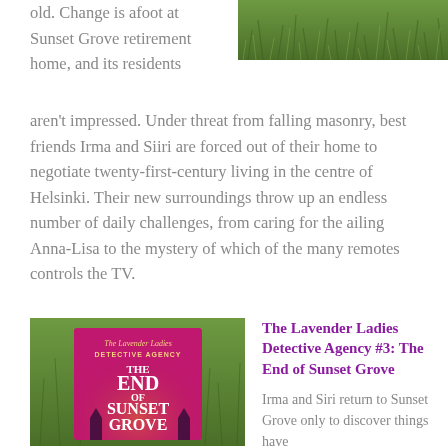[Figure (photo): Green grass/foliage background image in top right corner]
old. Change is afoot at Sunset Grove retirement home, and its residents aren't impressed. Under threat from falling masonry, best friends Irma and Siiri are forced out of their home to negotiate twenty-first-century living in the centre of Helsinki. Their new surroundings throw up an endless number of daily challenges, from caring for the ailing Anna-Lisa to the mystery of which of the many remotes controls the TV.
[Figure (photo): Book cover for The Lavender Ladies Detective Agency: The End of Sunset Grove, pink/magenta cover with illustrated cityscape]
The Lavender Ladies Detective Agency #3: The End of Sunset Grove
Irma and Siri return to Sunset Grove only to discover things have